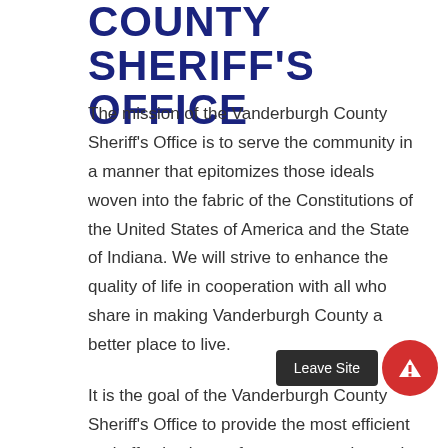COUNTY SHERIFF'S OFFICE
The mission of the Vanderburgh County Sheriff's Office is to serve the community in a manner that epitomizes those ideals woven into the fabric of the Constitutions of the United States of America and the State of Indiana. We will strive to enhance the quality of life in cooperation with all who share in making Vanderburgh County a better place to live.
It is the goal of the Vanderburgh County Sheriff's Office to provide the most efficient and effective law enforcement service to the citizens of Vanderburgh County. To increase the safety of our community, we have established multiple ways for you to furnish information anonymously regarding criminal or suspicious activity. Vanderburgh is a wonderful place to live, work, relax and raise a family.